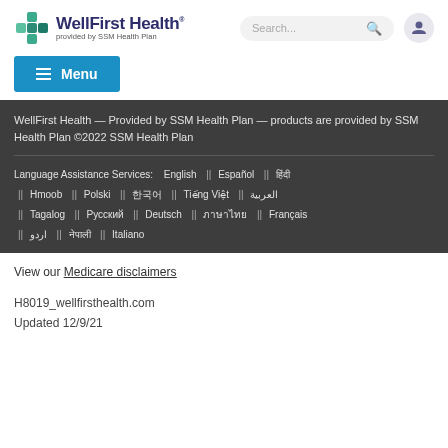[Figure (logo): WellFirst Health logo provided by SSM Health Plan with green/blue cross icon]
WellFirst Health — Provided by SSM Health Plan — products are provided by SSM Health Plan ©2022 SSM Health Plan
Language Assistance Services: English || Español || हिंदी || Hmoob || Polski || 한국어 || Tiếng Việt || العربية || Tagalog || Русский || Deutsch || ภาษาไทย || Français || اردو || नेपाली || Italiano
View our Medicare disclaimers
H8019_wellfirsthealth.com
Updated 12/9/21